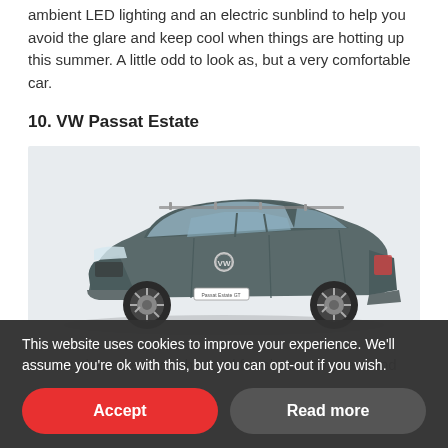ambient LED lighting and an electric sunblind to help you avoid the glare and keep cool when things are hotting up this summer. A little odd to look as, but a very comfortable car.
10. VW Passat Estate
[Figure (photo): A grey VW Passat Estate car photographed on a light grey background, three-quarter front view from the left side.]
Passats have been on the road for almost 50 years and
This website uses cookies to improve your experience. We'll assume you're ok with this, but you can opt-out if you wish.